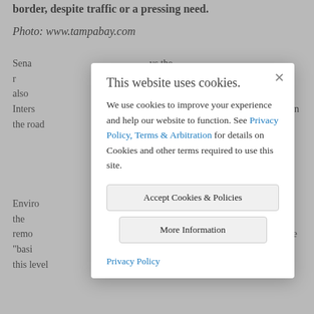border, despite traffic or a pressing need.
Photo: www.tampabay.com
Sena... ys the ro... f rural ... re also a... on on Inters... rate roads... n the road...
Enviro... role in the... s woul... t remo... e feder... be "basi... panther. An environmental disaster at this level
[Figure (screenshot): Cookie consent modal dialog overlay on the webpage. Title: 'This website uses cookies.' Body text: 'We use cookies to improve your experience and help our website to function. See Privacy Policy, Terms & Arbitration for details on Cookies and other terms required to use this site.' Buttons: 'Accept Cookies & Policies' and 'More Information'. Footer link: 'Privacy Policy'. Close button (×) in top right.]